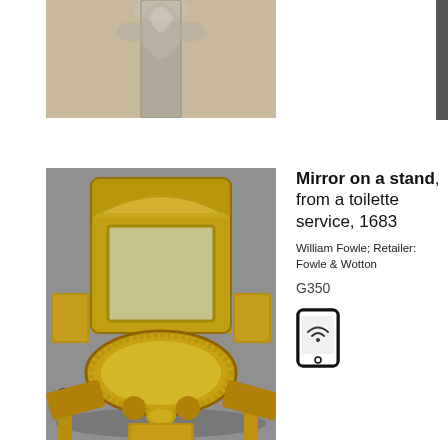[Figure (photo): Cropped top portion of a silver ornamental object on a beige/cream background]
[Figure (photo): Gold/gilt mirror on a stand from a toilette service, 1683, shown with matching gilt toilette accessories arranged in front on a grey surface]
Mirror on a stand, from a toilette service, 1683
William Fowle; Retailer: Fowle & Wotton
G350
[Figure (other): Smartphone/mobile device icon with wifi symbol]